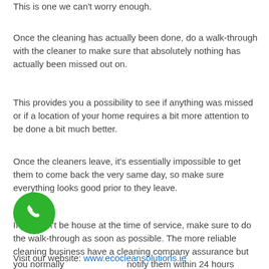This is one we can't worry enough.
Once the cleaning has actually been done, do a walk-through with the cleaner to make sure that absolutely nothing has actually been missed out on.
This provides you a possibility to see if anything was missed or if a location of your home requires a bit more attention to be done a bit much better.
Once the cleaners leave, it's essentially impossible to get them to come back the very same day, so make sure everything looks good prior to they leave.
If you can't be house at the time of service, make sure to do the walk-through as soon as possible. The more reliable cleaning business have a cleaning company assurance but you normally notify them within 24 hours about any issues.
[Figure (other): Green circular phone/call button icon]
Visit our website: www.ecocleansolutions.ie